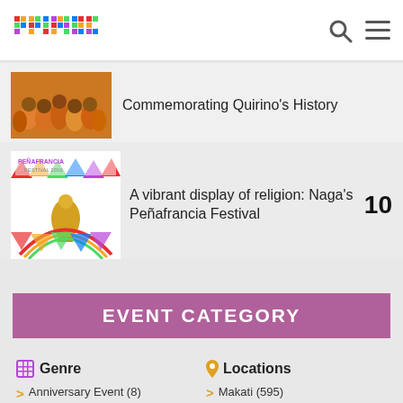primer (logo) | search | menu
[Figure (photo): Orange-clad people in festive group photo thumbnail - Commemorating Quirino's History article]
Commemorating Quirino's History
[Figure (photo): Peñafrancia Festival 2016 colorful festival poster thumbnail]
A vibrant display of religion: Naga's Peñafrancia Festival
10
EVENT CATEGORY
Genre
Locations
Anniversary Event (8)
Art (96)
Auction (23)
Makati (595)
Taguig (320)
Mandaluyong (118)
Pasig (74)